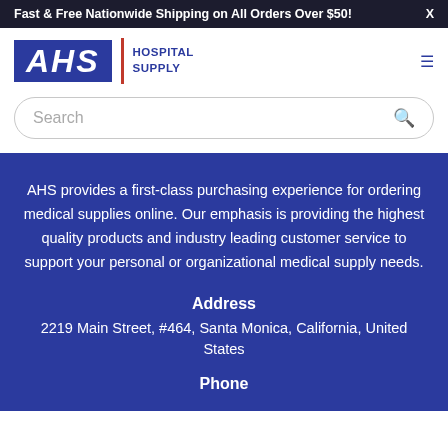Fast & Free Nationwide Shipping on All Orders Over $50!   X
[Figure (logo): AHS Hospital Supply logo with blue background letters AHS in italic bold, red divider line, and blue text HOSPITAL SUPPLY]
Search
AHS provides a first-class purchasing experience for ordering medical supplies online. Our emphasis is providing the highest quality products and industry leading customer service to support your personal or organizational medical supply needs.
Address
2219 Main Street, #464, Santa Monica, California, United States
Phone